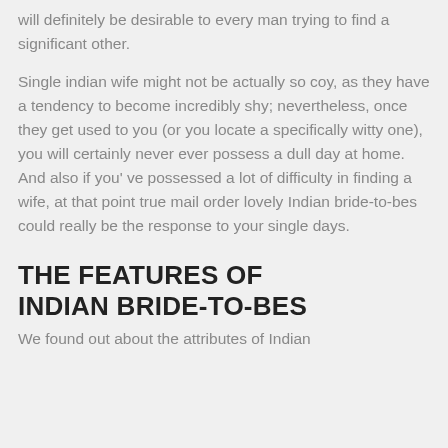will definitely be desirable to every man trying to find a significant other.
Single indian wife might not be actually so coy, as they have a tendency to become incredibly shy; nevertheless, once they get used to you (or you locate a specifically witty one), you will certainly never ever possess a dull day at home. And also if you' ve possessed a lot of difficulty in finding a wife, at that point true mail order lovely Indian bride-to-bes could really be the response to your single days.
THE FEATURES OF INDIAN BRIDE-TO-BES
We found out about the attributes of Indian